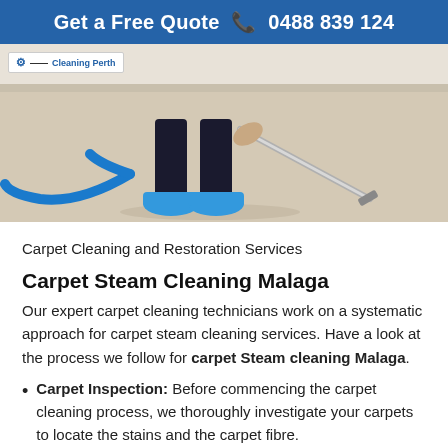Get a Free Quote 📞 0488 839 124
[Figure (photo): Carpet cleaning technician wearing blue shoe covers, holding a steam cleaning wand attached to a blue hose, cleaning a light-colored carpet. Company logo 'Cleaning Perth' visible in top-left corner.]
Carpet Cleaning and Restoration Services
Carpet Steam Cleaning Malaga
Our expert carpet cleaning technicians work on a systematic approach for carpet steam cleaning services. Have a look at the process we follow for carpet Steam cleaning Malaga.
Carpet Inspection: Before commencing the carpet cleaning process, we thoroughly investigate your carpets to locate the stains and the carpet fibre.